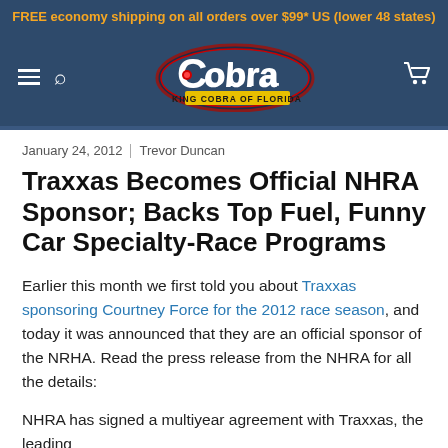FREE economy shipping on all orders over $99* US (lower 48 states)
[Figure (logo): Cobra King Cobra of Florida logo on dark blue navigation header with hamburger menu, search icon, and cart icon]
January 24, 2012 | Trevor Duncan
Traxxas Becomes Official NHRA Sponsor; Backs Top Fuel, Funny Car Specialty-Race Programs
Earlier this month we first told you about Traxxas sponsoring Courtney Force for the 2012 race season, and today it was announced that they are an official sponsor of the NRHA. Read the press release from the NHRA for all the details:
NHRA has signed a multiyear agreement with Traxxas, the leading